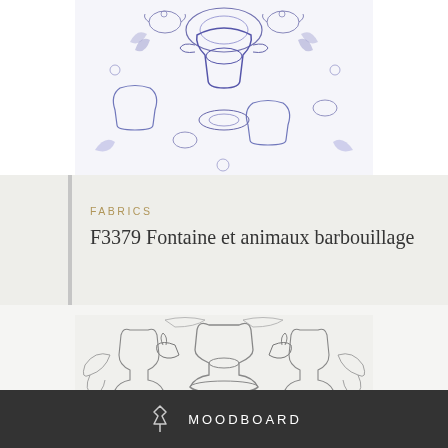[Figure (illustration): Blue and purple toile fabric pattern featuring decorative urns, teapots, and floral motifs in a repeated pattern. Cropped view showing the top portion of the fabric swatch.]
FABRICS
F3379 Fontaine et animaux barbouillage
[Figure (illustration): Grey and white toile fabric pattern featuring ornate classical motifs with urns, birds, roosters, fountains, scrollwork, and a central medallion with a figure. Detailed engraving-style print.]
MOODBOARD